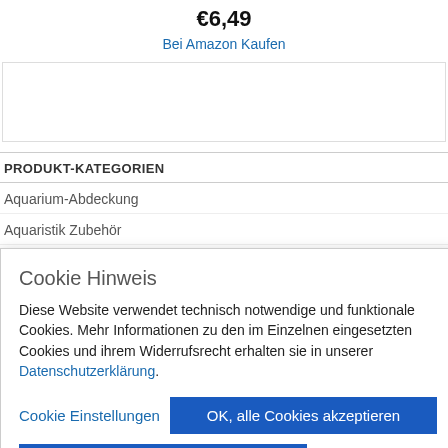€6,49
Bei Amazon Kaufen
[Figure (other): Empty sidebar image/ad box]
PRODUKT-KATEGORIEN
Aquarium-Abdeckung
Aquaristik Zubehör
Cookie Hinweis
Diese Website verwendet technisch notwendige und funktionale Cookies. Mehr Informationen zu den im Einzelnen eingesetzten Cookies und ihrem Widerrufsrecht erhalten sie in unserer Datenschutzerklärung.
Cookie Einstellungen | OK, alle Cookies akzeptieren
Alle nicht notwendigen Cookies ablehnen